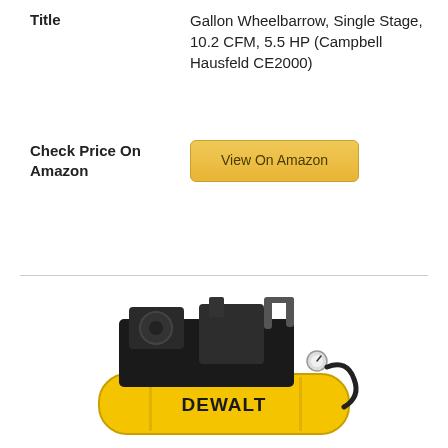Title
Gallon Wheelbarrow, Single Stage, 10.2 CFM, 5.5 HP (Campbell Hausfeld CE2000)
Check Price On Amazon
View On Amazon
[Figure (photo): DeWalt yellow air compressor with black engine on top, shown on white background]